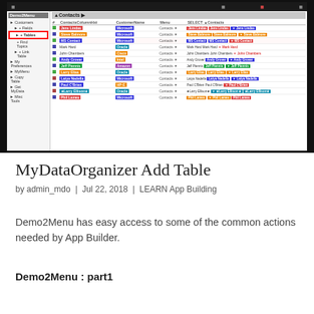[Figure (screenshot): MyDataOrganizer application screenshot showing a contacts table with colored tags, a sidebar menu, and SELECT contacts panel on the right.]
MyDataOrganizer Add Table
by admin_mdo  |  Jul 22, 2018  |  LEARN App Building
Demo2Menu has easy access to some of the common actions needed by App Builder.
Demo2Menu : part1